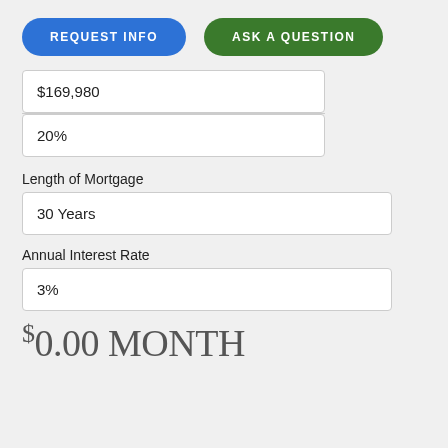[Figure (other): Two UI buttons: blue 'REQUEST INFO' and green 'ASK A QUESTION']
$169,980
20%
Length of Mortgage
30 Years
Annual Interest Rate
3%
$0.00 MONTH